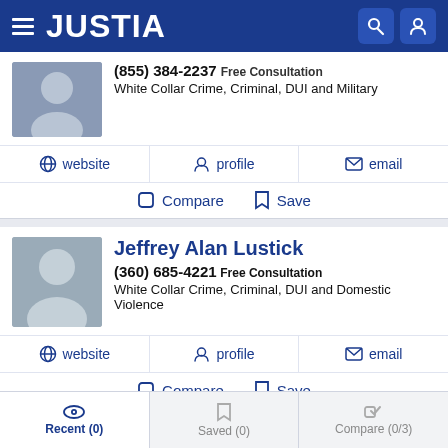JUSTIA
(855) 384-2237 Free Consultation
White Collar Crime, Criminal, DUI and Military
website | profile | email
Compare | Save
Jeffrey Alan Lustick
(360) 685-4221 Free Consultation
White Collar Crime, Criminal, DUI and Domestic Violence
website | profile | email
Compare | Save
Recent (0) | Saved (0) | Compare (0/3)